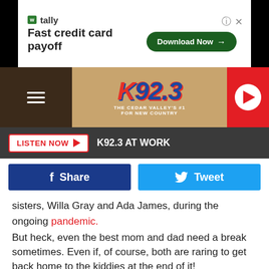[Figure (screenshot): Tally advertisement banner: Fast credit card payoff with Download Now button]
[Figure (logo): K92.3 The Cedar Valley's #1 For New Country radio station header with hamburger menu and play button]
LISTEN NOW  K92.3 AT WORK
Share   Tweet
sisters, Willa Gray and Ada James, during the ongoing pandemic.
But heck, even the best mom and dad need a break sometimes. Even if, of course, both are raring to get back home to the kiddies at the end of it!
“As a parent you talk about alone time a bunch,” Rhett wrote alongside another beach picture of him and Lauren that he shared on Instagram last week. “Then you get it, 12 minutes